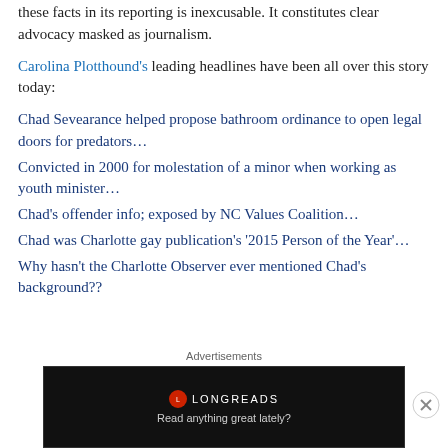these facts in its reporting is inexcusable. It constitutes clear advocacy masked as journalism.
Carolina Plotthound's leading headlines have been all over this story today:
Chad Sevearance helped propose bathroom ordinance to open legal doors for predators…
Convicted in 2000 for molestation of a minor when working as youth minister…
Chad's offender info; exposed by NC Values Coalition…
Chad was Charlotte gay publication's '2015 Person of the Year'…
Why hasn't the Charlotte Observer ever mentioned Chad's background??
[Figure (other): Longreads advertisement banner: black background with Longreads logo and text 'Read anything great lately?']